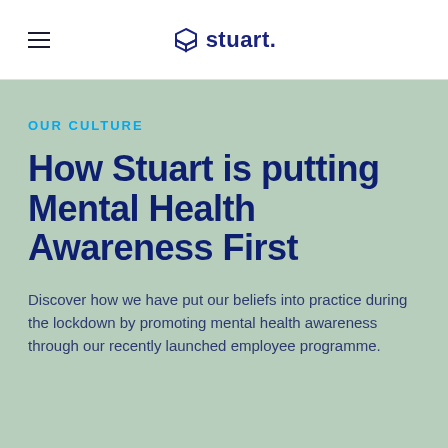Stuart
OUR CULTURE
How Stuart is putting Mental Health Awareness First
Discover how we have put our beliefs into practice during the lockdown by promoting mental health awareness through our recently launched employee programme.